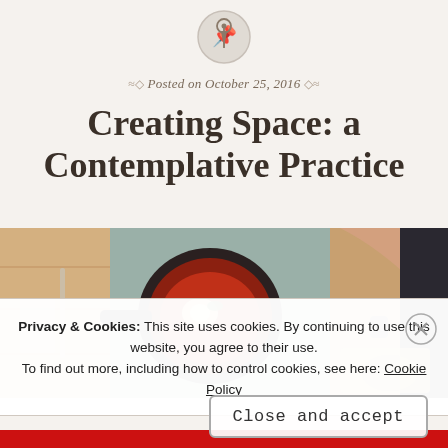[Figure (logo): Pin/thumbtack icon in a circular grey button at the top center of the page]
Posted on October 25, 2016
Creating Space: a Contemplative Practice
[Figure (photo): Overhead photo of food preparation — a cast iron skillet with eggs/sauce on a wooden table, person's arm reaching in from right side]
Privacy & Cookies: This site uses cookies. By continuing to use this website, you agree to their use.
To find out more, including how to control cookies, see here: Cookie Policy
Close and accept